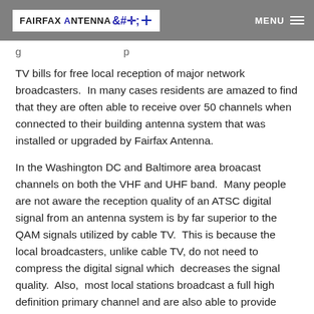Fairfax Antenna+ | MENU
TV bills for free local reception of major network broadcasters. In many cases residents are amazed to find that they are often able to receive over 50 channels when connected to their building antenna system that was installed or upgraded by Fairfax Antenna.
In the Washington DC and Baltimore area broacast channels on both the VHF and UHF band. Many people are not aware the reception quality of an ATSC digital signal from an antenna system is by far superior to the QAM signals utilized by cable TV. This is because the local broadcasters, unlike cable TV, do not need to compress the digital signal which decreases the signal quality. Also, most local stations broadcast a full high definition primary channel and are also able to provide bonus standard definition sub-channels. The program content of these sub-channels range from news